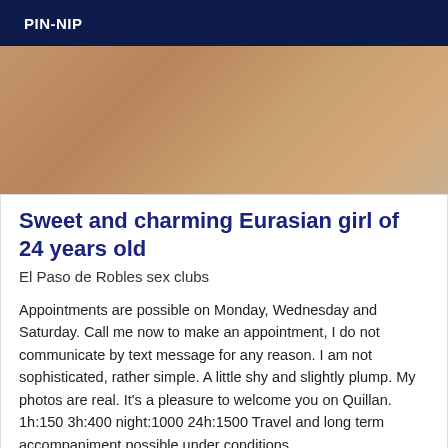PIN-NIP
[Figure (photo): Close-up photo with warm skin-tone background, brownish-tan colors]
Sweet and charming Eurasian girl of 24 years old
El Paso de Robles sex clubs
Appointments are possible on Monday, Wednesday and Saturday. Call me now to make an appointment, I do not communicate by text message for any reason. I am not sophisticated, rather simple. A little shy and slightly plump. My photos are real. It's a pleasure to welcome you on Quillan. 1h:150 3h:400 night:1000 24h:1500 Travel and long term accompaniment possible under conditions.